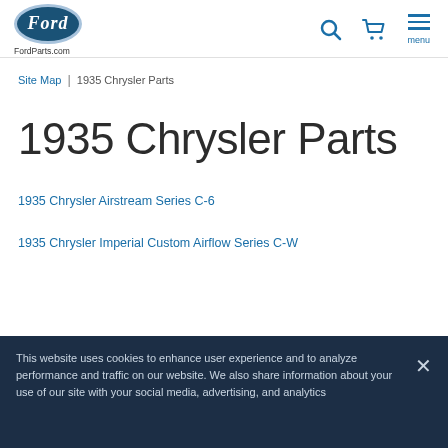FordParts.com
Site Map | 1935 Chrysler Parts
1935 Chrysler Parts
1935 Chrysler Airstream Series C-6
1935 Chrysler Imperial Custom Airflow Series C-W
This website uses cookies to enhance user experience and to analyze performance and traffic on our website. We also share information about your use of our site with your social media, advertising, and analytics